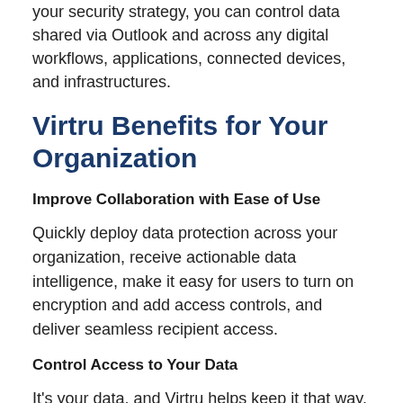your security strategy, you can control data shared via Outlook and across any digital workflows, applications, connected devices, and infrastructures.
Virtru Benefits for Your Organization
Improve Collaboration with Ease of Use
Quickly deploy data protection across your organization, receive actionable data intelligence, make it easy for users to turn on encryption and add access controls, and deliver seamless recipient access.
Control Access to Your Data
It's your data, and Virtru helps keep it that way. Host